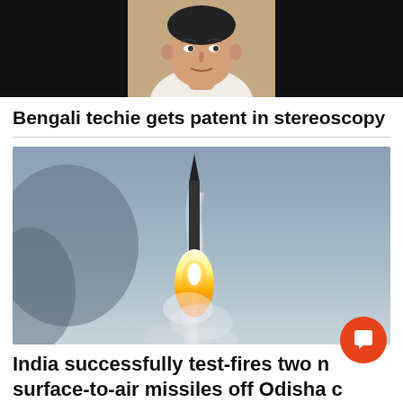[Figure (photo): Top strip: black rectangular images on left and right, with a person's face (man in light-colored shirt) in the center, against a warm background.]
Bengali techie gets patent in stereoscopy
[Figure (photo): A missile launching into the sky with a bright flame and smoke trail, against a gray-blue sky background.]
India successfully test-fires two new surface-to-air missiles off Odisha coast